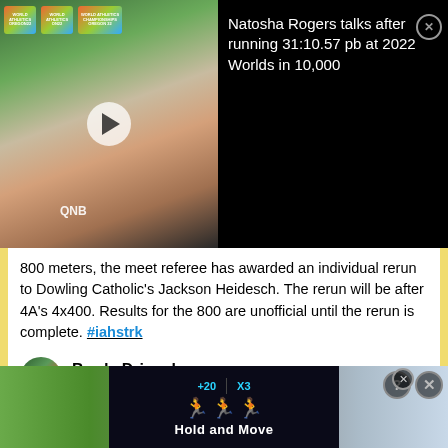[Figure (screenshot): Video thumbnail of athlete at World Athletics Championships Oregon22, with play button overlay]
Natosha Rogers talks after running 31:10.57 pb at 2022 Worlds in 10,000
800 meters, the meet referee has awarded an individual rerun to Dowling Catholic's Jackson Heidesch. The rerun will be after 4A's 4x400. Results for the 800 are unofficial until the rerun is complete. #iahstrk
Brady Driscol
@BradyDriscol · Follow
[Figure (screenshot): Twitter embedded video card showing a track race, with Watch on Twitter button]
[Figure (screenshot): Bottom advertisement overlay showing Hold and Move mobile app ad with close buttons]